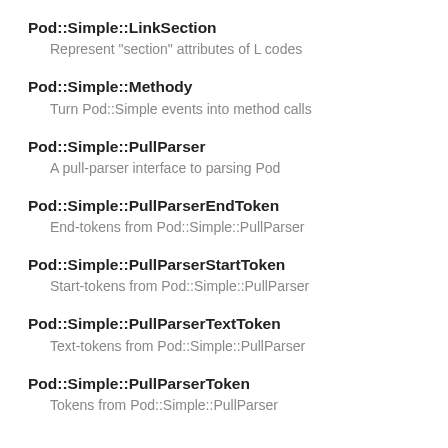Pod::Simple::LinkSection
Represent "section" attributes of L codes
Pod::Simple::Methody
Turn Pod::Simple events into method calls
Pod::Simple::PullParser
A pull-parser interface to parsing Pod
Pod::Simple::PullParserEndToken
End-tokens from Pod::Simple::PullParser
Pod::Simple::PullParserStartToken
Start-tokens from Pod::Simple::PullParser
Pod::Simple::PullParserTextToken
Text-tokens from Pod::Simple::PullParser
Pod::Simple::PullParserToken
Tokens from Pod::Simple::PullParser